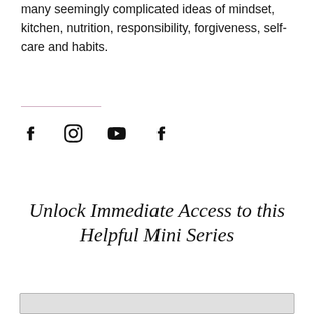many seemingly complicated ideas of mindset, kitchen, nutrition, responsibility, forgiveness, self-care and habits.
[Figure (infographic): Four social media icons: Facebook, Instagram, YouTube, Facebook arranged horizontally]
Unlock Immediate Access to this Helpful Mini Series
[Figure (other): Light gray input/form box at the bottom of the page]